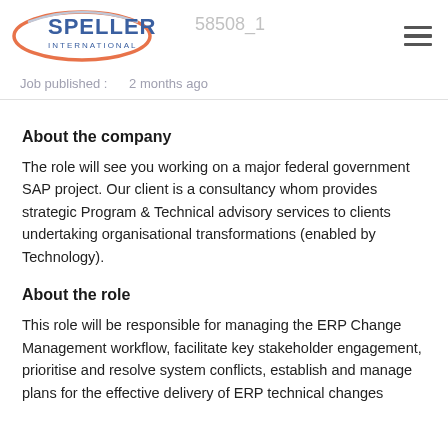[Figure (logo): Speller International logo with orange/red oval swoosh and blue text]
Job published : 2 months ago
About the company
The role will see you working on a major federal government SAP project. Our client is a consultancy whom provides strategic Program & Technical advisory services to clients undertaking organisational transformations (enabled by Technology).
About the role
This role will be responsible for managing the ERP Change Management workflow, facilitate key stakeholder engagement, prioritise and resolve system conflicts, establish and manage plans for the effective delivery of ERP technical changes